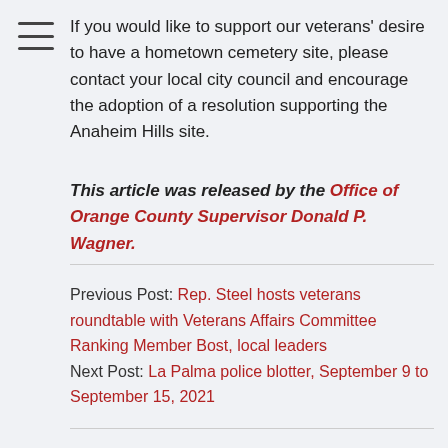If you would like to support our veterans' desire to have a hometown cemetery site, please contact your local city council and encourage the adoption of a resolution supporting the Anaheim Hills site.
This article was released by the Office of Orange County Supervisor Donald P. Wagner.
Previous Post: Rep. Steel hosts veterans roundtable with Veterans Affairs Committee Ranking Member Bost, local leaders
Next Post: La Palma police blotter, September 9 to September 15, 2021